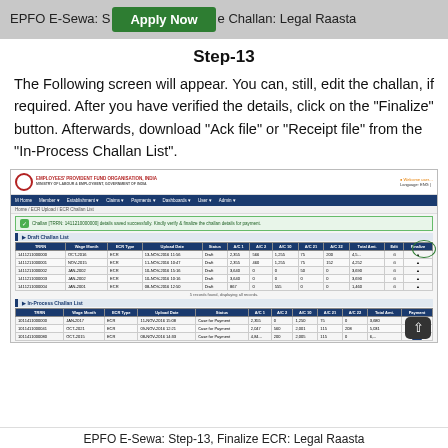EPFO E-Sewa: Step-13, Generate Challan: Legal Raasta
Step-13
The Following screen will appear. You can, still, edit the challan, if required. After you have verified the details, click on the “Finalize” button. Afterwards, download “Ack file” or “Receipt file” from the “In-Process Challan List”.
[Figure (screenshot): Screenshot of EPFO E-Sewa portal showing the Draft Challan List and In-Process Challan List tables, with Finalize button circled in green.]
EPFO E-Sewa: Step-13, Finalize ECR: Legal Raasta